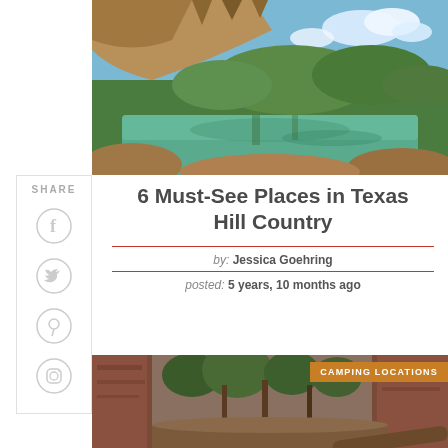[Figure (photo): Green lagoon under rocky cave overhang with trees and blue sky, Texas Hill Country]
6 Must-See Places in Texas Hill Country
by: Jessica Goehring
posted: 5 years, 10 months ago
[Figure (photo): Forest path with tall red rock canyon walls and trees, Texas Hill Country. Badge: CAMPING LOCATIONS]